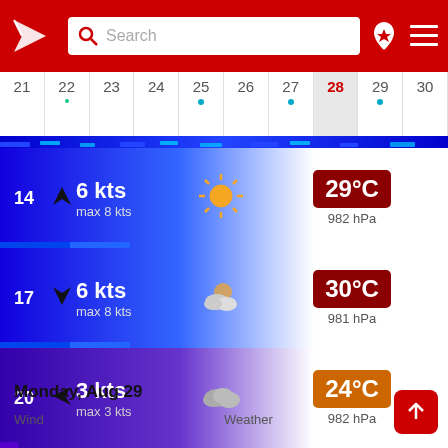[Figure (screenshot): App header with red background, logo, search bar, location pin icon, and hamburger menu]
[Figure (infographic): Horizontal date calendar strip showing days 21-30, with day 28 highlighted]
[Figure (infographic): Weather row for hour 14: wind 6 kts (max 8 kts), sunny icon, 29°C, 982 hPa]
[Figure (infographic): Weather row for hour 17: wind 6 kts (max 8 kts), partly cloudy icon, 30°C, 981 hPa]
[Figure (infographic): Weather row for hour 20: wind 3 kts (max 3 kts), cloudy icon, 24°C, 982 hPa]
[Figure (infographic): Weather row for hour 23: wind 2 kts (max 2 kts), night cloudy icon, 20°C, 982 hPa]
Monday, Aug 29
Wind
Weather